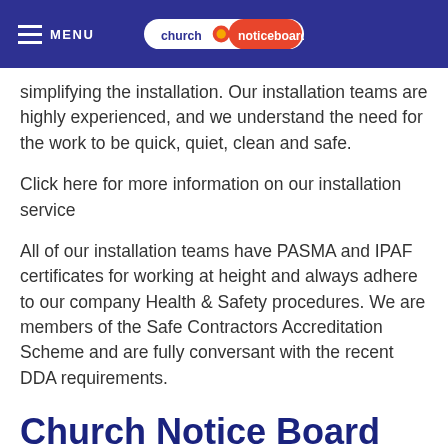MENU | church noticeboards
simplifying the installation. Our installation teams are highly experienced, and we understand the need for the work to be quick, quiet, clean and safe.
Click here for more information on our installation service
All of our installation teams have PASMA and IPAF certificates for working at height and always adhere to our company Health & Safety procedures. We are members of the Safe Contractors Accreditation Scheme and are fully conversant with the recent DDA requirements.
Church Notice Board Installation In Bawtry,